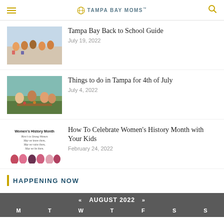Tampa Bay Moms
Tampa Bay Back to School Guide
July 19, 2022
Things to do in Tampa for 4th of July
July 4, 2022
How To Celebrate Women's History Month with Your Kids
February 24, 2022
HAPPENING NOW
AUGUST 2022